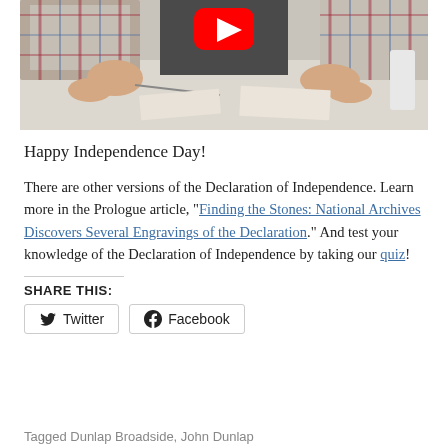[Figure (screenshot): Video thumbnail showing hands working on a document, with a YouTube play button overlay]
Happy Independence Day!
There are other versions of the Declaration of Independence. Learn more in the Prologue article, “Finding the Stones: National Archives Discovers Several Engravings of the Declaration.” And test your knowledge of the Declaration of Independence by taking our quiz!
SHARE THIS:
Twitter  Facebook
Tagged Dunlap Broadside, John Dunlap